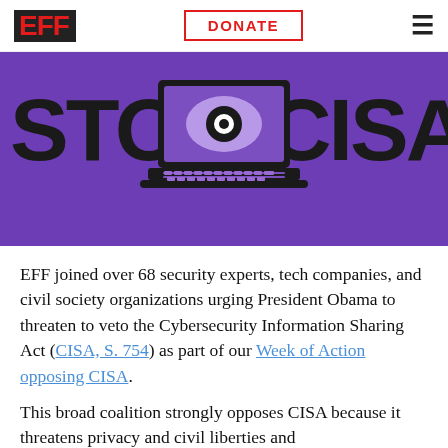EFF | DONATE
[Figure (illustration): STOP CISA banner with a laptop displaying a large eye graphic on a purple background, with bold black text reading STOP and CISA on either side]
EFF joined over 68 security experts, tech companies, and civil society organizations urging President Obama to threaten to veto the Cybersecurity Information Sharing Act (CISA, S. 754) as part of our Week of Action opposing CISA.
This broad coalition strongly opposes CISA because it threatens privacy and civil liberties and...